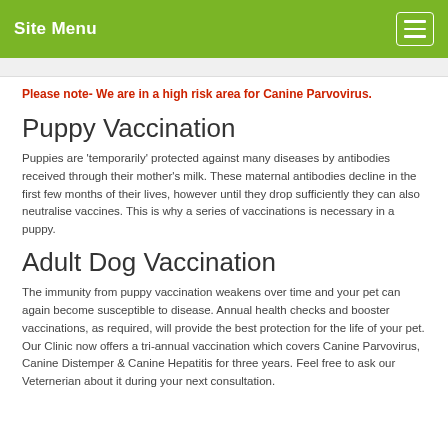Site Menu
Please note- We are in a high risk area for Canine Parvovirus.
Puppy Vaccination
Puppies are ‘temporarily’ protected against many diseases by antibodies received through their mother’s milk. These maternal antibodies decline in the first few months of their lives, however until they drop sufficiently they can also neutralise vaccines. This is why a series of vaccinations is necessary in a puppy.
Adult Dog Vaccination
The immunity from puppy vaccination weakens over time and your pet can again become susceptible to disease. Annual health checks and booster vaccinations, as required, will provide the best protection for the life of your pet. Our Clinic now offers a tri-annual vaccination which covers Canine Parvovirus, Canine Distemper & Canine Hepatitis for three years. Feel free to ask our Veternerian about it during your next consultation.